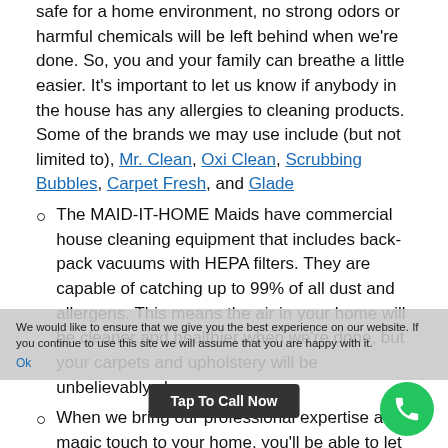safe for a home environment, no strong odors or harmful chemicals will be left behind when we're done. So, you and your family can breathe a little easier. It's important to let us know if anybody in the house has any allergies to cleaning products. Some of the brands we may use include (but not limited to), Mr. Clean, Oxi Clean, Scrubbing Bubbles, Carpet Fresh, and Glade
The MAID-IT-HOME Maids have commercial house cleaning equipment that includes back-pack vacuums with HEPA filters. They are capable of catching up to 99% of all dust and allergens. This means the air in your home will be cleaner and healthier when we're done, but your carpets and upholstery will be unbelievably clean.
When we bring our professional expertise and magic touch to your home, you'll be … mother-in-law give it the white glove test.
We would like to ensure that we give you the best experience on our website. If you continue to use this site we will assume that you are happy with it.
Tap To Call Now